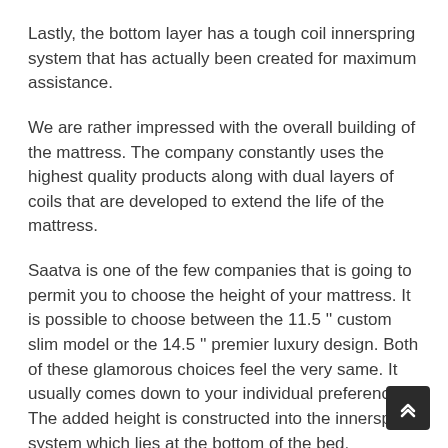Lastly, the bottom layer has a tough coil innerspring system that has actually been created for maximum assistance.
We are rather impressed with the overall building of the mattress. The company constantly uses the highest quality products along with dual layers of coils that are developed to extend the life of the mattress.
Saatva is one of the few companies that is going to permit you to choose the height of your mattress. It is possible to choose between the 11.5 '' custom slim model or the 14.5 '' premier luxury design. Both of these glamorous choices feel the very same. It usually comes down to your individual preference. The added height is constructed into the innerspring system which lies at the bottom of the bed.